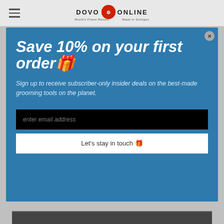DOVO ONLINE — World's Finest Razors — Made in Solingen
[Figure (screenshot): Modal popup on DOVO ONLINE website offering 10% off first order with email signup form]
Save 10% on your first order🎁
Sign up to receive subscriber-only insider deals on the best-made grooming tools on the planet.
enter email address
Let's stay in touch 🎁